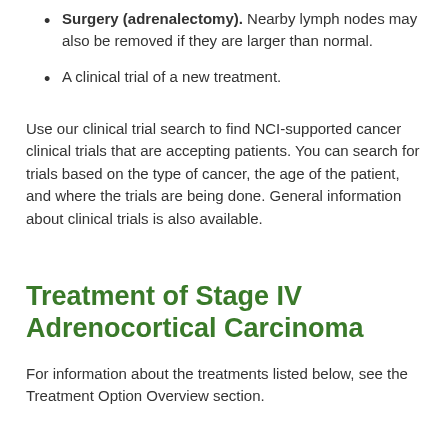Surgery (adrenalectomy). Nearby lymph nodes may also be removed if they are larger than normal.
A clinical trial of a new treatment.
Use our clinical trial search to find NCI-supported cancer clinical trials that are accepting patients. You can search for trials based on the type of cancer, the age of the patient, and where the trials are being done. General information about clinical trials is also available.
Treatment of Stage IV Adrenocortical Carcinoma
For information about the treatments listed below, see the Treatment Option Overview section.